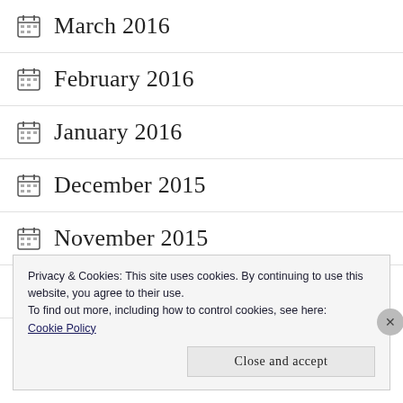March 2016
February 2016
January 2016
December 2015
November 2015
October 2015
Privacy & Cookies: This site uses cookies. By continuing to use this website, you agree to their use.
To find out more, including how to control cookies, see here: Cookie Policy
Close and accept